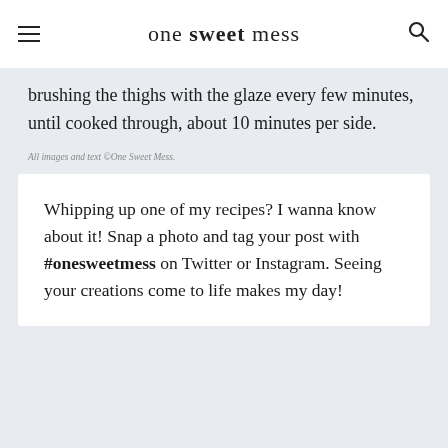one sweet mess
brushing the thighs with the glaze every few minutes, until cooked through, about 10 minutes per side.
All images and text ©One Sweet Mess.
Whipping up one of my recipes? I wanna know about it! Snap a photo and tag your post with #onesweetmess on Twitter or Instagram. Seeing your creations come to life makes my day!